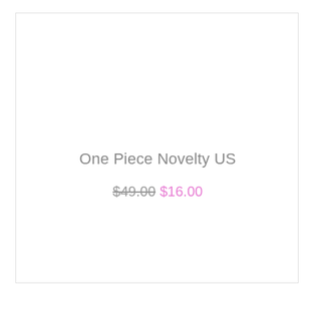One Piece Novelty US
$49.00 $16.00